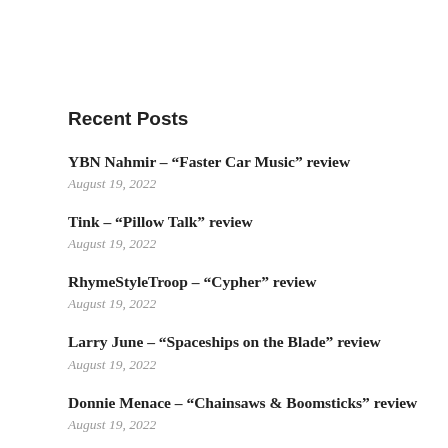Recent Posts
YBN Nahmir – “Faster Car Music” review
August 19, 2022
Tink – “Pillow Talk” review
August 19, 2022
RhymeStyleTroop – “Cypher” review
August 19, 2022
Larry June – “Spaceships on the Blade” review
August 19, 2022
Donnie Menace – “Chainsaws & Boomsticks” review
August 19, 2022